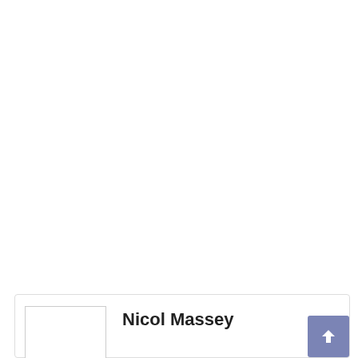[Figure (infographic): Social sharing button bar with Share, Facebook, Twitter, Google+, and a plus button]
[Figure (infographic): Author card with photo placeholder and name Nicol Massey, plus a scroll-to-top button]